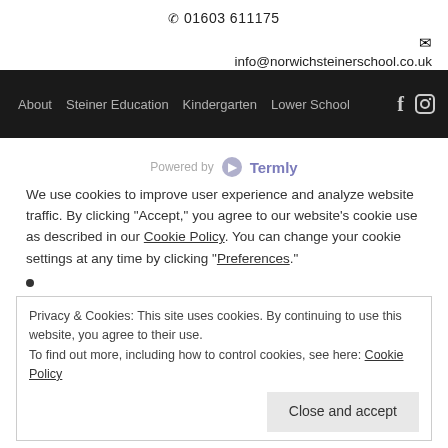✆ 01603 611175
info@norwichsteinerschool.co.uk
About   Steiner Education   Kindergarten   Lower School
[Figure (logo): Powered by Termly logo]
We use cookies to improve user experience and analyze website traffic. By clicking "Accept," you agree to our website's cookie use as described in our Cookie Policy. You can change your cookie settings at any time by clicking "Preferences."
Privacy & Cookies: This site uses cookies. By continuing to use this website, you agree to their use.
To find out more, including how to control cookies, see here: Cookie Policy
Close and accept